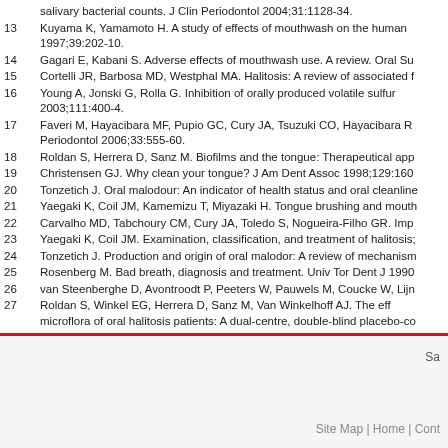salivary bacterial counts. J Clin Periodontol 2004;31:1128-34.
13   Kuyama K, Yamamoto H. A study of effects of mouthwash on the human 1997;39:202-10.
14   Gagari E, Kabani S. Adverse effects of mouthwash use. A review. Oral Su
15   Cortelli JR, Barbosa MD, Westphal MA. Halitosis: A review of associated f
16   Young A, Jonski G, Rolla G. Inhibition of orally produced volatile sulfur 2003;111:400-4.
17   Faveri M, Hayacibara MF, Pupio GC, Cury JA, Tsuzuki CO, Hayacibara R Periodontol 2006;33:555-60.
18   Roldan S, Herrera D, Sanz M. Biofilms and the tongue: Therapeutical app
19   Christensen GJ. Why clean your tongue? J Am Dent Assoc 1998;129:160
20   Tonzetich J. Oral malodour: An indicator of health status and oral cleanline
21   Yaegaki K, Coil JM, Kamemizu T, Miyazaki H. Tongue brushing and mouth
22   Carvalho MD, Tabchoury CM, Cury JA, Toledo S, Nogueira-Filho GR. Imp
23   Yaegaki K, Coil JM. Examination, classification, and treatment of halitosis;
24   Tonzetich J. Production and origin of oral malodor: A review of mechanism
25   Rosenberg M. Bad breath, diagnosis and treatment. Univ Tor Dent J 1990
26   van Steenberghe D, Avontroodt P, Peeters W, Pauwels M, Coucke W, Lijn
27   Roldan S, Winkel EG, Herrera D, Sanz M, Van Winkelhoff AJ. The eff microflora of oral halitosis patients: A dual-centre, double-blind placebo-co
Sa   Site Map | Home | Cont